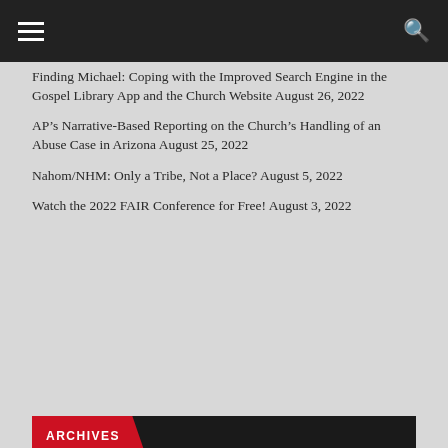Finding Michael: Coping with the Improved Search Engine in the Gospel Library App and the Church Website August 26, 2022
AP's Narrative-Based Reporting on the Church's Handling of an Abuse Case in Arizona August 25, 2022
Nahom/NHM: Only a Tribe, Not a Place? August 5, 2022
Watch the 2022 FAIR Conference for Free! August 3, 2022
ARCHIVES
Select Month
FEATURED POSTS